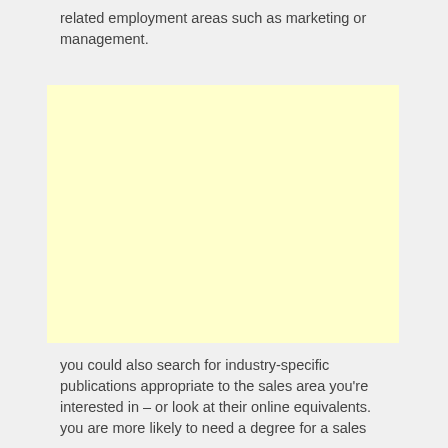related employment areas such as marketing or management.
[Figure (other): A blank pale yellow advertisement or image placeholder box.]
you could also search for industry-specific publications appropriate to the sales area you're interested in – or look at their online equivalents. you are more likely to need a degree for a sales